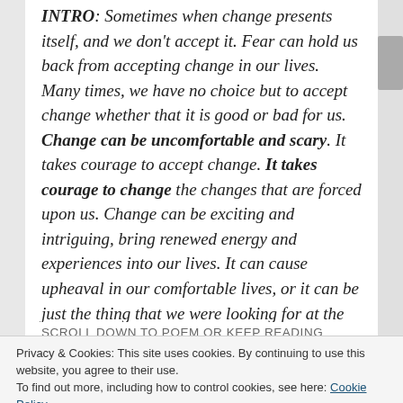INTRO: Sometimes when change presents itself, and we don't accept it. Fear can hold us back from accepting change in our lives. Many times, we have no choice but to accept change whether that it is good or bad for us. Change can be uncomfortable and scary. It takes courage to accept change. It takes courage to change the changes that are forced upon us. Change can be exciting and intriguing, bring renewed energy and experiences into our lives. It can cause upheaval in our comfortable lives, or it can be just the thing that we were looking for at the time.
SCROLL DOWN TO POEM OR KEEP READING
Privacy & Cookies: This site uses cookies. By continuing to use this website, you agree to their use. To find out more, including how to control cookies, see here: Cookie Policy
Close and accept
strong against it, we must deal with change. We